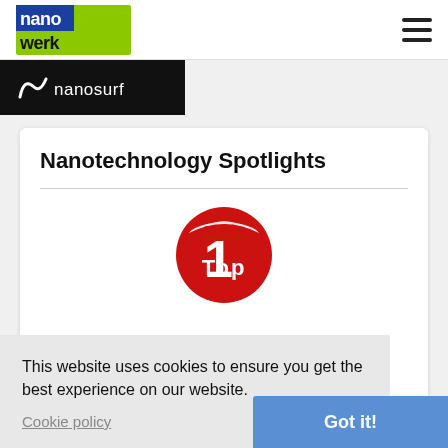nanowerk [logo] [hamburger menu]
[Figure (logo): Nanosurf logo on black background banner]
Nanotechnology Spotlights
[Figure (illustration): Red circular badge with 'Top Spotlights' text in white and dark letters]
How nanotechnologies are shaping the future of warfare
Aug 22, 2022
This website uses cookies to ensure you get the best experience on our website.
Cookie policy
Got it!